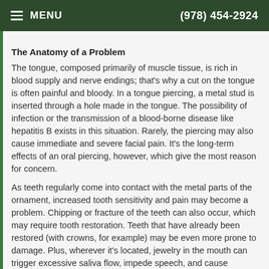MENU  (978) 454-2924
The Anatomy of a Problem
The tongue, composed primarily of muscle tissue, is rich in blood supply and nerve endings; that’s why a cut on the tongue is often painful and bloody. In a tongue piercing, a metal stud is inserted through a hole made in the tongue. The possibility of infection or the transmission of a blood-borne disease like hepatitis B exists in this situation. Rarely, the piercing may also cause immediate and severe facial pain. It’s the long-term effects of an oral piercing, however, which give the most reason for concern.
As teeth regularly come into contact with the metal parts of the ornament, increased tooth sensitivity and pain may become a problem. Chipping or fracture of the teeth can also occur, which may require tooth restoration. Teeth that have already been restored (with crowns, for example) may be even more prone to damage. Plus, wherever it’s located, jewelry in the mouth can trigger excessive saliva flow, impede speech, and cause problems w…ing.